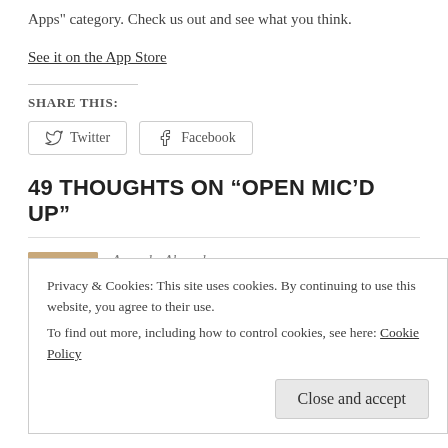Apps" category. Check us out and see what you think.
See it on the App Store
SHARE THIS:
Twitter  Facebook
49 THOUGHTS ON “OPEN MIC’D UP”
AmandasAbroad says:
Apr 25, 2015 at 12:21 pm
Privacy & Cookies: This site uses cookies. By continuing to use this website, you agree to their use.
To find out more, including how to control cookies, see here: Cookie Policy
Close and accept
Liked by 1 person